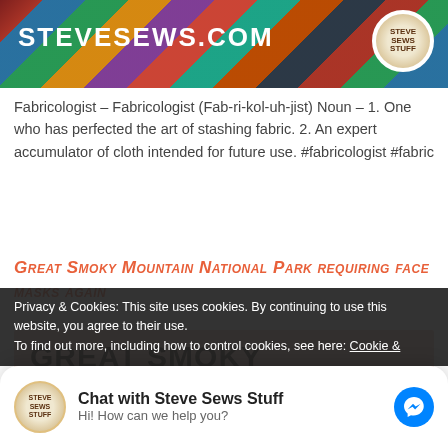[Figure (screenshot): Website header banner for stevesews.com with quilt-patterned background and circular logo]
Fabricologist – Fabricologist (Fab-ri-kol-uh-jist) Noun – 1. One who has perfected the art of stashing fabric. 2. An expert accumulator of cloth intended for future use. #fabricologist #fabric
Great Smoky Mountain National Park requiring face masks again
[Figure (infographic): Pink background graphic showing text GREAT SMOKY MOUNTAIN NATIONAL PARK in large bold dark letters]
Privacy & Cookies: This site uses cookies. By continuing to use this website, you agree to their use.
To find out more, including how to control cookies, see here: Cookie &
Chat with Steve Sews Stuff
Hi! How can we help you?